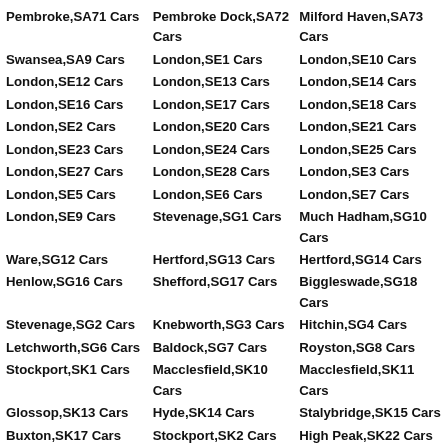Pembroke,SA71 Cars
Pembroke Dock,SA72 Cars
Milford Haven,SA73 Cars
Swansea,SA9 Cars
London,SE1 Cars
London,SE10 Cars
London,SE12 Cars
London,SE13 Cars
London,SE14 Cars
London,SE16 Cars
London,SE17 Cars
London,SE18 Cars
London,SE2 Cars
London,SE20 Cars
London,SE21 Cars
London,SE23 Cars
London,SE24 Cars
London,SE25 Cars
London,SE27 Cars
London,SE28 Cars
London,SE3 Cars
London,SE5 Cars
London,SE6 Cars
London,SE7 Cars
London,SE9 Cars
Stevenage,SG1 Cars
Much Hadham,SG10 Cars
Ware,SG12 Cars
Hertford,SG13 Cars
Hertford,SG14 Cars
Henlow,SG16 Cars
Shefford,SG17 Cars
Biggleswade,SG18 Cars
Stevenage,SG2 Cars
Knebworth,SG3 Cars
Hitchin,SG4 Cars
Letchworth,SG6 Cars
Baldock,SG7 Cars
Royston,SG8 Cars
Stockport,SK1 Cars
Macclesfield,SK10 Cars
Macclesfield,SK11 Cars
Glossop,SK13 Cars
Hyde,SK14 Cars
Stalybridge,SK15 Cars
Buxton,SK17 Cars
Stockport,SK2 Cars
High Peak,SK22 Cars
Stockport,SK3 Cars
Stockport,SK4 Cars
Stockport,SK5 Cars
Stockport,SK7 Cars
Cheadle,SK8 Cars
Wilmslow,SK9 Cars
Slough,SL1 Cars
Slough,SL2 Cars
Slough,SL3 Cars